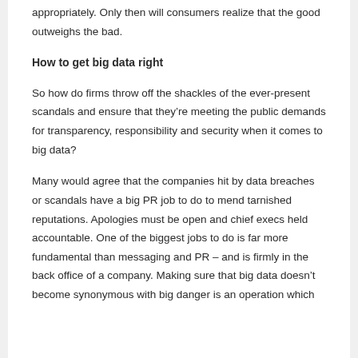appropriately. Only then will consumers realize that the good outweighs the bad.
How to get big data right
So how do firms throw off the shackles of the ever-present scandals and ensure that they're meeting the public demands for transparency, responsibility and security when it comes to big data?
Many would agree that the companies hit by data breaches or scandals have a big PR job to do to mend tarnished reputations. Apologies must be open and chief execs held accountable. One of the biggest jobs to do is far more fundamental than messaging and PR – and is firmly in the back office of a company. Making sure that big data doesn't become synonymous with big danger is an operation which